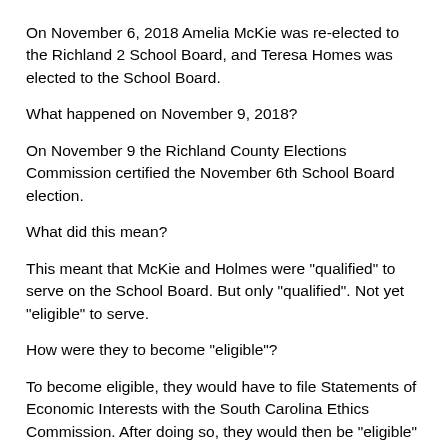On November 6, 2018 Amelia McKie was re-elected to the Richland 2 School Board, and Teresa Homes was elected to the School Board.
What happened on November 9, 2018?
On November 9 the Richland County Elections Commission certified the November 6th School Board election.
What did this mean?
This meant that McKie and Holmes were "qualified" to serve on the School Board. But only "qualified". Not yet "eligible" to serve.
How were they to become "eligible"?
To become eligible, they would have to file Statements of Economic Interests with the South Carolina Ethics Commission. After doing so, they would then be "eligible" to take the oath of office.